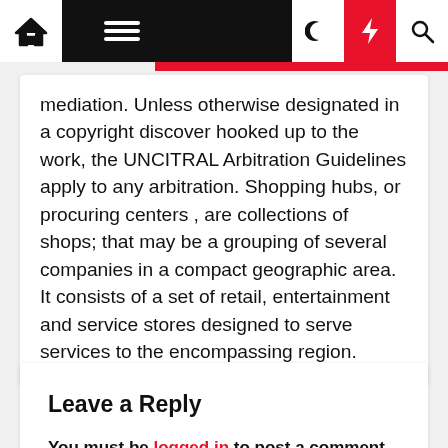[Navigation bar with home, menu, dark mode, flash, and search icons]
mediation. Unless otherwise designated in a copyright discover hooked up to the work, the UNCITRAL Arbitration Guidelines apply to any arbitration. Shopping hubs, or procuring centers , are collections of shops; that may be a grouping of several companies in a compact geographic area. It consists of a set of retail, entertainment and service stores designed to serve services to the encompassing region.
Leave a Reply
You must be logged in to post a comment.